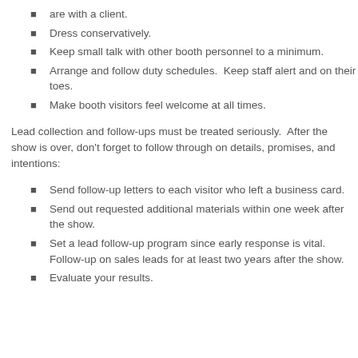are with a client.
Dress conservatively.
Keep small talk with other booth personnel to a minimum.
Arrange and follow duty schedules.  Keep staff alert and on their toes.
Make booth visitors feel welcome at all times.
Lead collection and follow-ups must be treated seriously.  After the show is over, don't forget to follow through on details, promises, and intentions:
Send follow-up letters to each visitor who left a business card.
Send out requested additional materials within one week after the show.
Set a lead follow-up program since early response is vital. Follow-up on sales leads for at least two years after the show.
Evaluate your results.